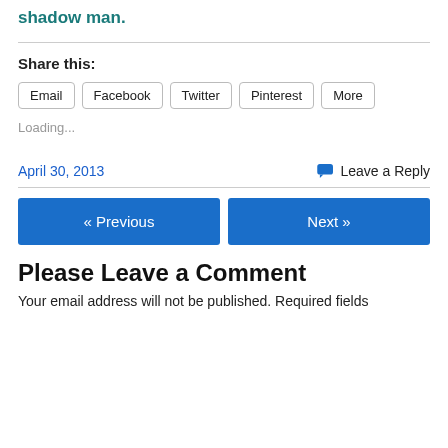shadow man.
Share this:
Email
Facebook
Twitter
Pinterest
More
Loading...
April 30, 2013
Leave a Reply
« Previous
Next »
Please Leave a Comment
Your email address will not be published. Required fields